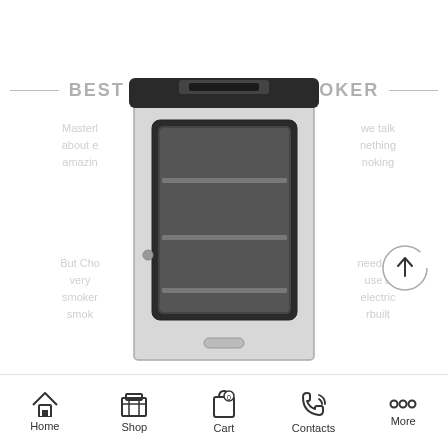BEST MASTERBUILT SMOKER
Masterbuilt is about everything amazing
we talk nothing noking
But Choosing very smoker smok
needs is use a electric rbuilt
[Figure (photo): Masterbuilt electric smoker with glass door showing interior racks, stainless steel exterior]
Home  Shop  Cart  Contacts  More